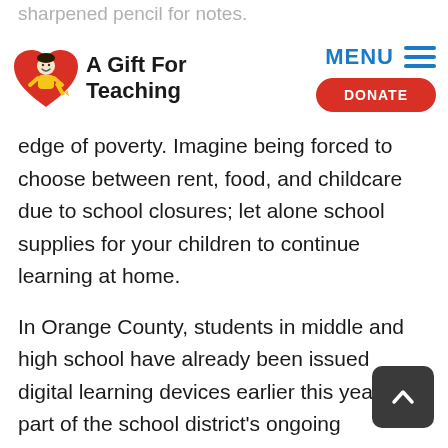[Figure (logo): A Gift For Teaching logo — red heart with cartoon child figure holding a pencil]
MENU  ☰   DONATE
sharpened pencil for notes.
COVID-19 has hurt thousands of Central Florida families and children...
edge of poverty. Imagine being forced to choose between rent, food, and childcare due to school closures; let alone school supplies for your children to continue learning at home.
In Orange County, students in middle and high school have already been issued digital learning devices earlier this year as a part of the school district's ongoing LaunchED 1:1 digital learning plan. Unfortunately, LaunchED has not yet reached all students in elementary schools. The